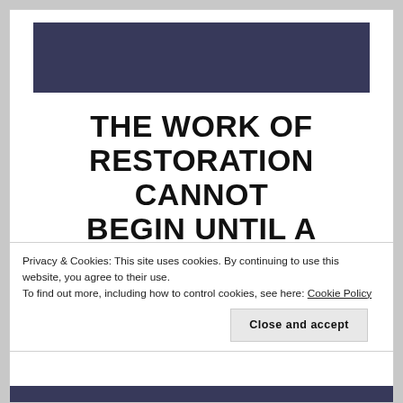[Figure (illustration): Dark navy/indigo rectangular banner image at top of page]
THE WORK OF RESTORATION CANNOT BEGIN UNTIL A PROBLEM
Privacy & Cookies: This site uses cookies. By continuing to use this website, you agree to their use.
To find out more, including how to control cookies, see here: Cookie Policy
Close and accept